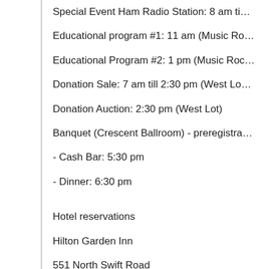Special Event Ham Radio Station: 8 am ti…
Educational program #1: 11 am (Music Ro…
Educational Program #2: 1 pm (Music Roc…
Donation Sale: 7 am till 2:30 pm (West Lo…
Donation Auction: 2:30 pm (West Lot)
Banquet (Crescent Ballroom) - preregistra…
- Cash Bar: 5:30 pm
- Dinner: 6:30 pm
Hotel reservations
Hilton Garden Inn
551 North Swift Road